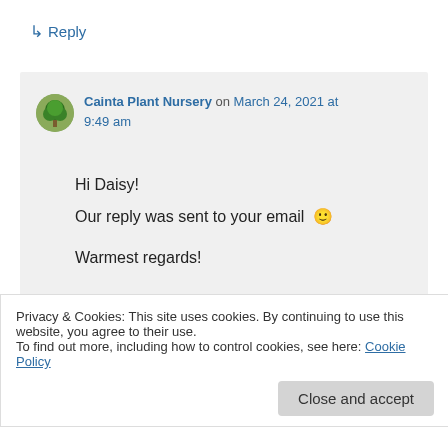↳ Reply
Cainta Plant Nursery on March 24, 2021 at 9:49 am
Hi Daisy!
Our reply was sent to your email 🙂

Warmest regards!
↳ Reply
Privacy & Cookies: This site uses cookies. By continuing to use this website, you agree to their use.
To find out more, including how to control cookies, see here: Cookie Policy
Close and accept